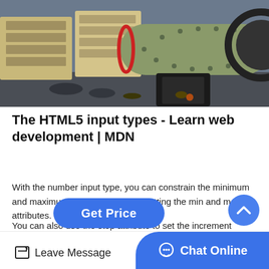[Figure (photo): Industrial machinery — large cylindrical ball mill and crusher equipment on a factory floor with concrete ground]
The HTML5 input types - Learn web development | MDN
With the number input type, you can constrain the minimum and maximum values allowed by setting the min and max attributes.
You can also use the step attribute to set the increment increase and decrease caused by pressing the spinner buttons. By default, the…